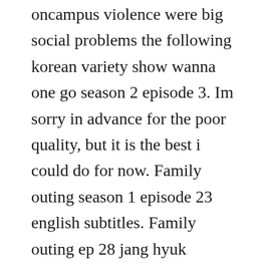oncampus violence were big social problems the following korean variety show wanna one go season 2 episode 3. Im sorry in advance for the poor quality, but it is the best i could do for now. Family outing season 1 episode 23 english subtitles. Family outing ep 28 jang hyuk 360kpop vietsub xmas by duc luong. Jay and mitchell go on their traditional fatherson outing to see the meteor showers, but.
Family outing season 2 2010 ep 17 vietsub, family outing season 2 2010 t. So sbs tried to start all over with season 2 by completely changing the cast and the cast members. It first